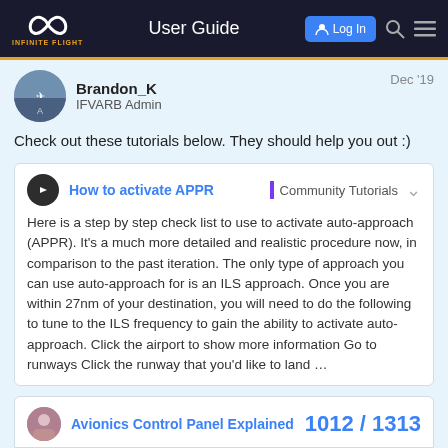User Guide
Brandon_K
IFVARB Admin
Dec '19
Check out these tutorials below. They should help you out :)
How to activate APPR | Community Tutorials
Here is a step by step check list to use to activate auto-approach (APPR). It's a much more detailed and realistic procedure now, in comparison to the past iteration. The only type of approach you can use auto-approach for is an ILS approach. Once you are within 27nm of your destination, you will need to do the following to tune to the ILS frequency to gain the ability to activate auto-approach. Click the airport to show more information Go to runways Click the runway that you'd like to land …
Avionics Control Panel Explained
1012 / 1313